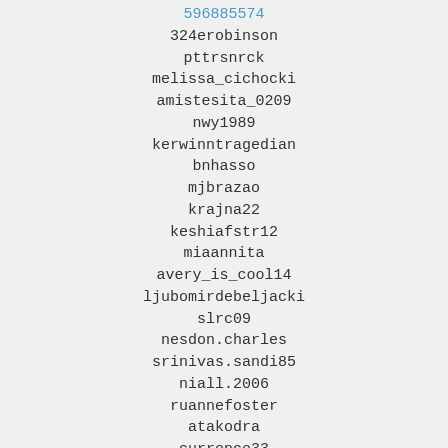596885574
324erobinson
pttrsnrck
melissa_cichocki
amistesita_0209
nwy1989
kerwinntragedian
bnhasso
mjbrazao
krajna22
keshiafstr12
miaannita
avery_is_cool14
ljubomirdebeljacki
slrc09
nesdon.charles
srinivas.sandi85
niall.2006
ruannefoster
atakodra
currence33
nghido297
okapap
opikhilda123